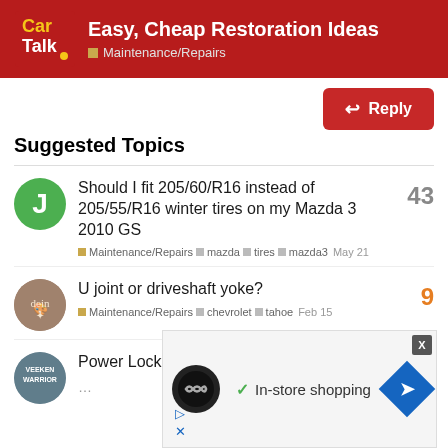Easy, Cheap Restoration Ideas — Maintenance/Repairs
Suggested Topics
Should I fit 205/60/R16 instead of 205/55/R16 winter tires on my Mazda 3 2010 GS — Maintenance/Repairs, mazda, tires, mazda3 — May 21 — 43 replies
U joint or driveshaft yoke? — Maintenance/Repairs, chevrolet, tahoe — Feb 15 — 9 replies
Power Locks and passenger... — Oct '21 — 3 replies
(partially visible topic) — 11 replies
[Figure (screenshot): Advertisement overlay showing In-store shopping with a navigation arrow icon]